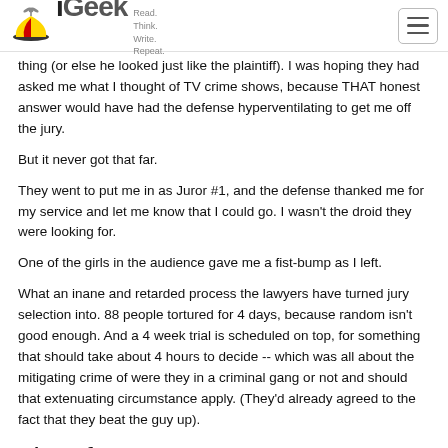iGeek — Read. Think. Write. Repeat.
thing (or else he looked just like the plaintiff). I was hoping they had asked me what I thought of TV crime shows, because THAT honest answer would have had the defense hyperventilating to get me off the jury.
But it never got that far.
They went to put me in as Juror #1, and the defense thanked me for my service and let me know that I could go. I wasn't the droid they were looking for.
One of the girls in the audience gave me a fist-bump as I left.
What an inane and retarded process the lawyers have turned jury selection into. 88 people tortured for 4 days, because random isn't good enough. And a 4 week trial is scheduled on top, for something that should take about 4 hours to decide -- which was all about the mitigating crime of were they in a criminal gang or not and should that extenuating circumstance apply. (They'd already agreed to the fact that they beat the guy up).
List of answers